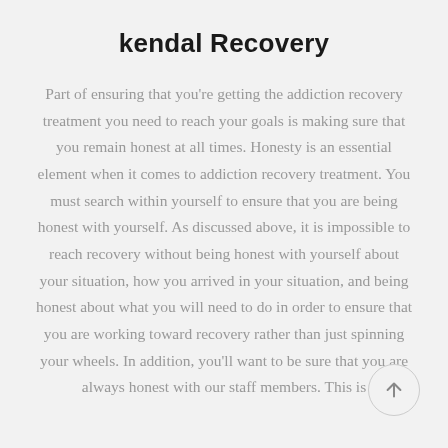kendal Recovery
Part of ensuring that you're getting the addiction recovery treatment you need to reach your goals is making sure that you remain honest at all times. Honesty is an essential element when it comes to addiction recovery treatment. You must search within yourself to ensure that you are being honest with yourself. As discussed above, it is impossible to reach recovery without being honest with yourself about your situation, how you arrived in your situation, and being honest about what you will need to do in order to ensure that you are working toward recovery rather than just spinning your wheels. In addition, you'll want to be sure that you are always honest with our staff members. This is